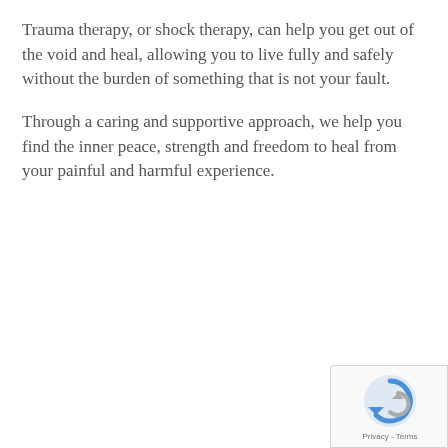Trauma therapy, or shock therapy, can help you get out of the void and heal, allowing you to live fully and safely without the burden of something that is not your fault.
Through a caring and supportive approach, we help you find the inner peace, strength and freedom to heal from your painful and harmful experience.
[Figure (other): reCAPTCHA badge with logo and Privacy - Terms text]